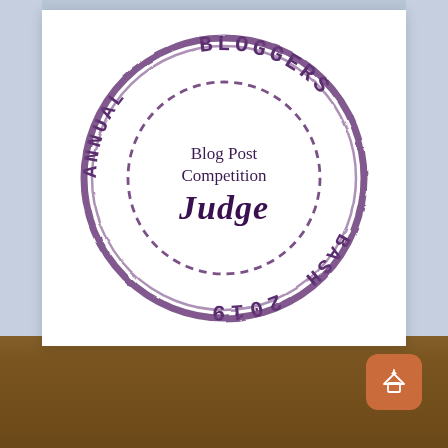[Figure (illustration): Circular rubber stamp badge reading 'Annual Bloggers Bash 2019 Blog Post Competition Judge' in purple ink on white background, with dashed inner circle and distressed stamp texture.]